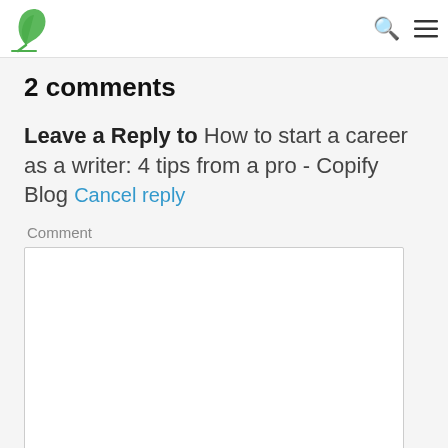Copify Blog logo, search icon, menu icon
2 comments
Leave a Reply to How to start a career as a writer: 4 tips from a pro - Copify Blog Cancel reply
Comment
[Figure (screenshot): Empty comment text area input box with resize handle]